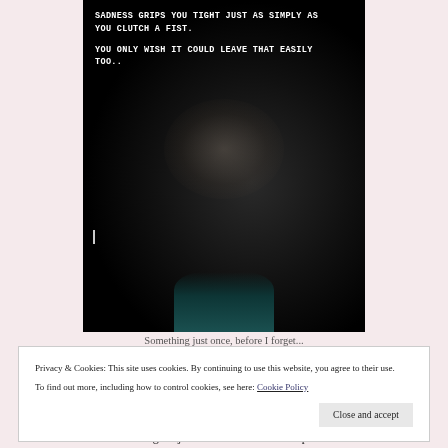[Figure (photo): Dark image of a clenched fist against a black background with a teal sleeve at the bottom. White bold text overlay reads: 'SADNESS GRIPS YOU TIGHT JUST AS SIMPLY AS YOU CLUTCH A FIST. YOU ONLY WISH IT COULD LEAVE THAT EASILY TOO..']
Something just once, before I forget...
Privacy & Cookies: This site uses cookies. By continuing to use this website, you agree to their use. To find out more, including how to control cookies, see here: Cookie Policy
Close and accept
dancing.. It just never subsides. It keeps on